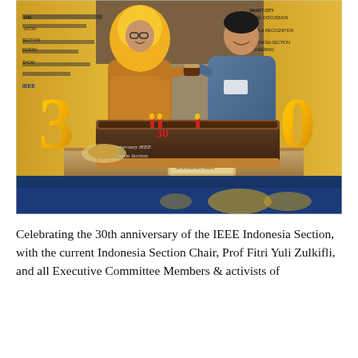[Figure (photo): Two people cutting a cake celebrating the 30th anniversary of IEEE Indonesia Section. A woman in a yellow hijab and batik dress and a man in a denim shirt are holding a piece of cake together. In front of them is a large chocolate cake with '30' candles. Gold number balloon '3' is on the left and '0' on the right. IEEE banner is visible in the background. An IEEE certificate plaque is on the table.]
Celebrating the 30th anniversary of the IEEE Indonesia Section, with the current Indonesia Section Chair, Prof Fitri Yuli Zulkifli, and all Executive Committee Members & activists of